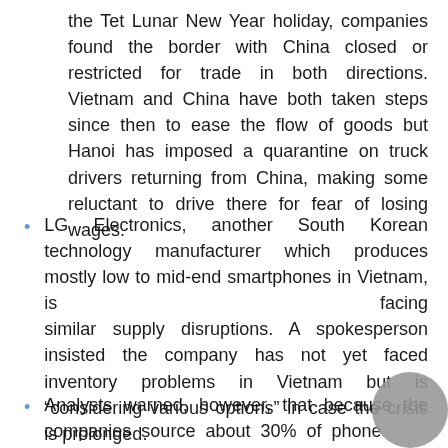the Tet Lunar New Year holiday, companies found the border with China closed or restricted for trade in both directions. Vietnam and China have both taken steps since then to ease the flow of goods but Hanoi has imposed a quarantine on truck drivers returning from China, making some reluctant to drive there for fear of losing wages.
LG Electronics, another South Korean technology manufacturer which produces mostly low to mid-end smartphones in Vietnam, is facing similar supply disruptions. A spokesperson insisted the company has not yet faced inventory problems in Vietnam but is “considering various options” in case the crisis is prolonged.
Analysts warned, however, that because the companies source about 30% of phone